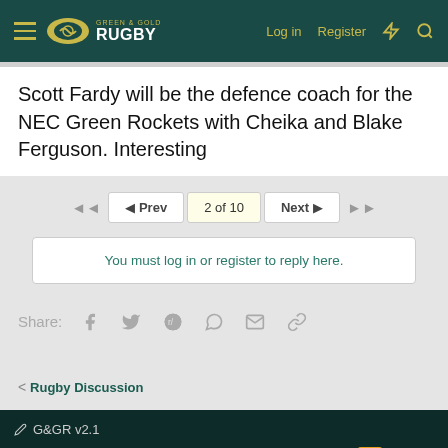Green & Gold Rugby — Log in  Register
Scott Fardy will be the defence coach for the NEC Green Rockets with Cheika and Blake Ferguson. Interesting
◄◄  ◄ Prev  2 of 10  Next ►  ►►
You must log in or register to reply here.
Share:
< Rugby Discussion
G&GR v2.1
Contact us  Terms and rules  Privacy policy  Help  Home
Community platform by XenForo® © 2010-2021 XenForo Ltd.